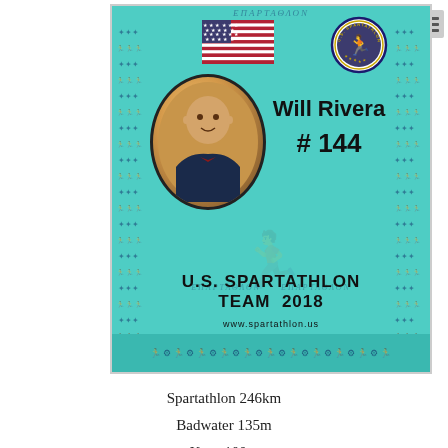[Figure (infographic): U.S. Spartathlon Team 2018 athlete ID card for Will Rivera #144. Features a teal/turquoise background with runner border patterns, US flag, team logo, oval photo of athlete, name and number, team name, and website www.spartathlon.us]
Spartathlon 246km
Badwater 135m
Keys 100m
Tunnel Hill 100m
Umstead 100m
Pistol 100m
Javelina Jundred 100m